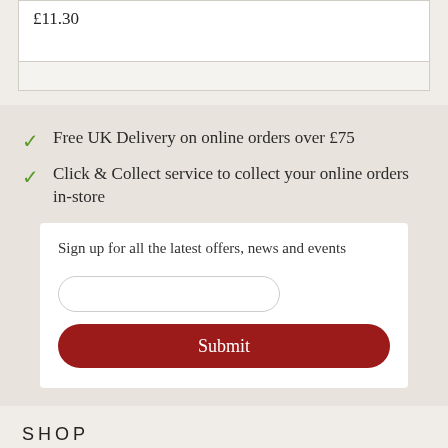£11.30
Free UK Delivery on online orders over £75
Click & Collect service to collect your online orders in-store
Sign up for all the latest offers, news and events
Submit
SHOP